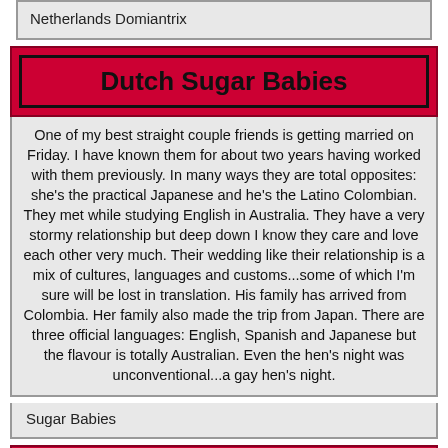Netherlands Domiantrix
Dutch Sugar Babies
One of my best straight couple friends is getting married on Friday. I have known them for about two years having worked with them previously. In many ways they are total opposites: she's the practical Japanese and he's the Latino Colombian. They met while studying English in Australia. They have a very stormy relationship but deep down I know they care and love each other very much. Their wedding like their relationship is a mix of cultures, languages and customs...some of which I'm sure will be lost in translation. His family has arrived from Colombia. Her family also made the trip from Japan. There are three official languages: English, Spanish and Japanese but the flavour is totally Australian. Even the hen's night was unconventional...a gay hen's night.
Sugar Babies